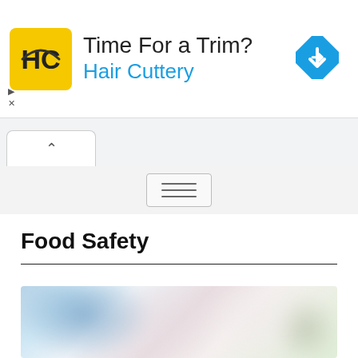[Figure (screenshot): Hair Cuttery advertisement banner with yellow HC logo, text 'Time For a Trim?' and 'Hair Cuttery' in blue, and a blue navigation sign icon on the right]
[Figure (screenshot): Browser chrome with a tab showing a chevron/caret up icon, and a gray toolbar area with a hamburger menu button]
Food Safety
[Figure (photo): Blurred photo of a person in blue clothing in a kitchen or food preparation setting]